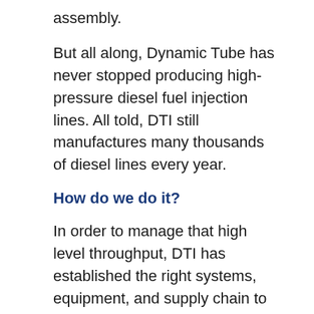assembly.
But all along, Dynamic Tube has never stopped producing high-pressure diesel fuel injection lines. All told, DTI still manufactures many thousands of diesel lines every year.
How do we do it?
In order to manage that high level throughput, DTI has established the right systems, equipment, and supply chain to make world class parts quickly, efficiently, and backed by ISO9001:2015 quality assurance.
Raw Material Management